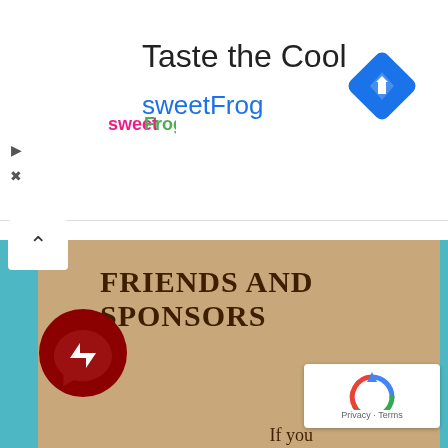[Figure (infographic): SweetFrog advertisement banner with logo, title 'Taste the Cool', subtitle 'sweetFrog', and a blue navigation diamond icon on the right]
FRIENDS AND SPONSORS
[Figure (logo): Facebook Messenger icon — dark red circle with white lightning bolt/chat symbol]
[Figure (logo): Google reCAPTCHA badge with Privacy and Terms links]
If you